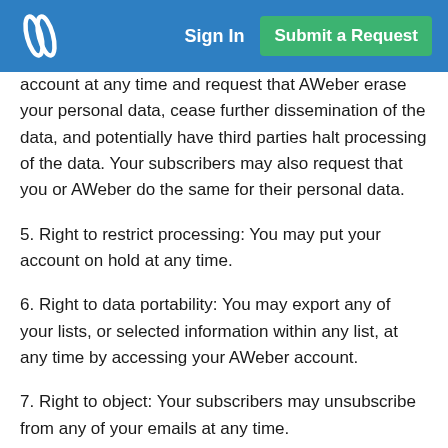Sign In | Submit a Request
account at any time and request that AWeber erase your personal data, cease further dissemination of the data, and potentially have third parties halt processing of the data. Your subscribers may also request that you or AWeber do the same for their personal data.
5. Right to restrict processing: You may put your account on hold at any time.
6. Right to data portability: You may export any of your lists, or selected information within any list, at any time by accessing your AWeber account.
7. Right to object: Your subscribers may unsubscribe from any of your emails at any time.